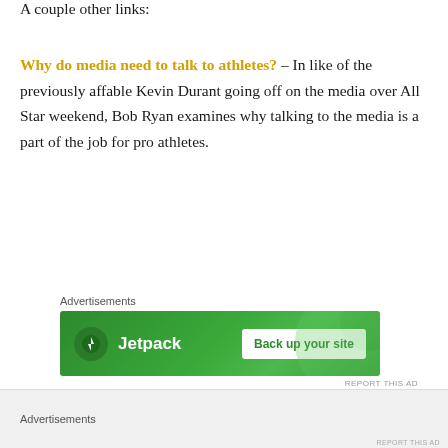A couple other links:
Why do media need to talk to athletes? – In like of the previously affable Kevin Durant going off on the media over All Star weekend, Bob Ryan examines why talking to the media is a part of the job for pro athletes.
Advertisements
[Figure (other): Jetpack advertisement banner with green background, Jetpack logo and lightning bolt icon, and 'Back up your site' button]
REPORT THIS AD
← navigation links (partially visible)
Advertisements
REPORT THIS AD